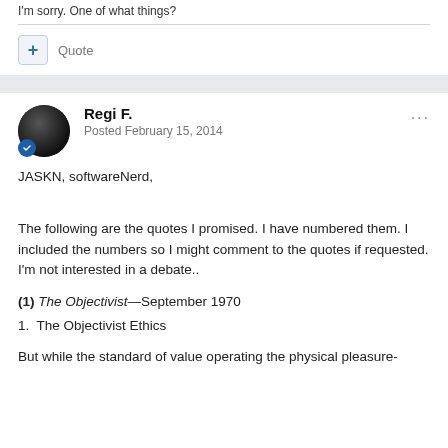I'm sorry. One of what things?
Quote
Regi F.
Posted February 15, 2014
JASKN, softwareNerd,
The following are the quotes I promised. I have numbered them. I included the numbers so I might comment to the quotes if requested. I'm not interested in a debate..
(1) The Objectivist—September 1970
1.  The Objectivist Ethics
But while the standard of value operating the physical pleasure-